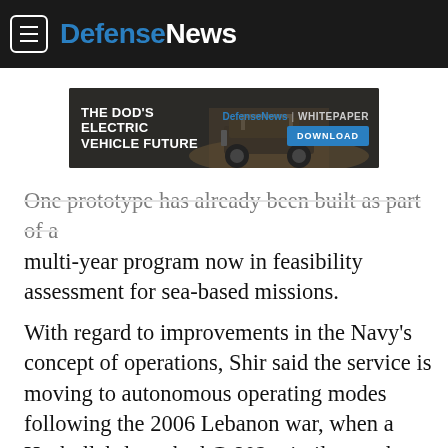DefenseNews
[Figure (screenshot): Advertisement banner for DefenseNews whitepaper on The DOD's Electric Vehicle Future with a Download button]
One prototype has already been built as part of a multi-year program now in feasibility assessment for sea-based missions.
With regard to improvements in the Navy's concept of operations, Shir said the service is moving to autonomous operating modes following the 2006 Lebanon war, when a Hezbollah-launched C-802 missile struck and temporarily disabled one of its